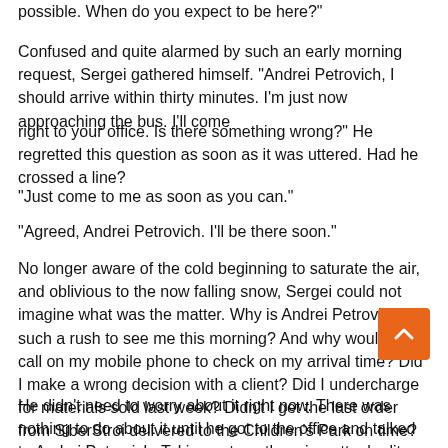possible. When do you expect to be here?"
Confused and quite alarmed by such an early morning request, Sergei gathered himself. "Andrei Petrovich, I should arrive within thirty minutes. I'm just now approaching the bus. I'll come
right to your office. Is there something wrong?" He regretted this question as soon as it was uttered. Had he crossed a line?
"Just come to me as soon as you can."
"Agreed, Andrei Petrovich. I'll be there soon."
No longer aware of the cold beginning to saturate the air, and oblivious to the now falling snow, Sergei could not imagine what was the matter. Why is Andrei Petrovich in such a rush to see me this morning? And why would he call on my mobile phone to check on my arrival time? Did I make a wrong decision with a client? Did I undercharge for materials sold last week? Didn't I get the last order from SiberStroi delivered to the Children's Park on time? He si— went down a litany of possible problems in his head.
He didn't need to worry about it right now. There was nothing to do about it until he got to the office and talked to Andrei Petrovich. Taking out another cigarette, he lit up, inhaled deeply, and